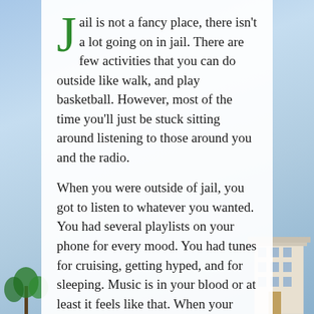[Figure (photo): Background photo showing a blue sky with clouds, trees at lower left, and a building at lower right.]
Jail is not a fancy place, there isn't a lot going on in jail. There are few activities that you can do outside like walk, and play basketball. However, most of the time you'll just be stuck sitting around listening to those around you and the radio.

When you were outside of jail, you got to listen to whatever you wanted. You had several playlists on your phone for every mood. You had tunes for cruising, getting hyped, and for sleeping. Music is in your blood or at least it feels like that. When your friends get together, you decide what you guys are listening to.

Unfortunately in jail, it's a different story. You don't get to choose what you listen to